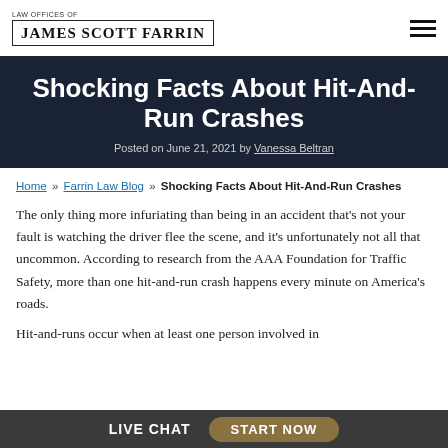LAW OFFICES OF JAMES SCOTT FARRIN
Shocking Facts About Hit-And-Run Crashes
Posted on June 21, 2021 by Vanessa Beltran
Home » Farrin Law Blog » Shocking Facts About Hit-And-Run Crashes
The only thing more infuriating than being in an accident that's not your fault is watching the driver flee the scene, and it's unfortunately not all that uncommon. According to research from the AAA Foundation for Traffic Safety, more than one hit-and-run crash happens every minute on America's roads.
Hit-and-runs occur when at least one person involved in
LIVE CHAT   START NOW